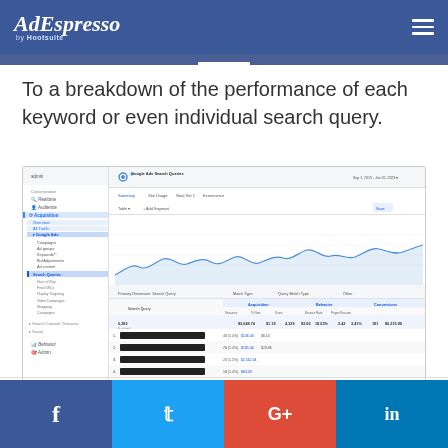AdEspresso by Hootsuite
To a breakdown of the performance of each keyword or even individual search query.
[Figure (screenshot): Google Analytics Google Ads Search Queries report screenshot showing a line chart of sessions over time and a data table with search query performance metrics including clicks, cost, CTR, conversions, bounce rate, pages/session, and cost/conversion. Part of the data is redacted with a black rectangle.]
Facebook Twitter G+ LinkedIn social share buttons